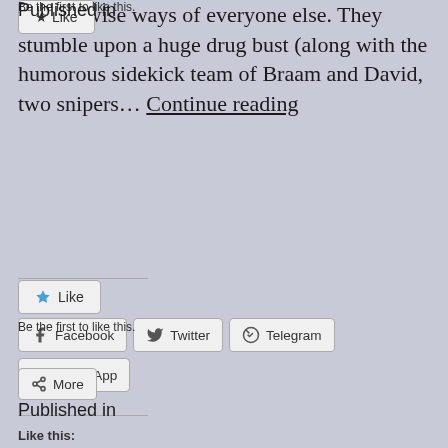wordly wise ways of everyone else. They stumble upon a huge drug bust (along with the humorous sidekick team of Braam and David, two snipers… Continue reading
Share this:
Facebook  Twitter  Telegram  WhatsApp
More
Like this:
Like
Be the first to like this.
Published in